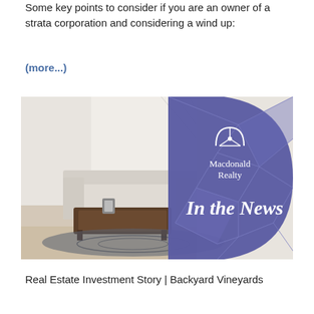Some key points to consider if you are an owner of a strata corporation and considering a wind up:
(more...)
[Figure (illustration): Macdonald Realty 'In the News' banner image showing a stylish living room interior on the left half and a purple geometric polygon overlay on the right half with the Macdonald Realty logo and text 'In the News']
Real Estate Investment Story | Backyard Vineyards